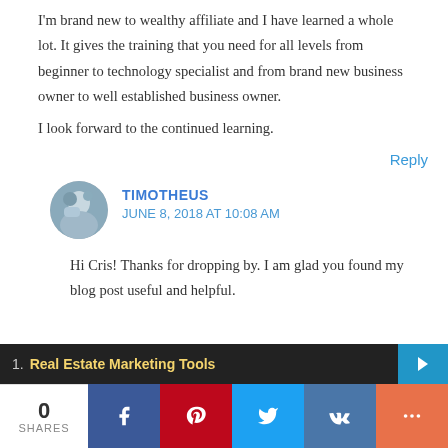I'm brand new to wealthy affiliate and I have learned a whole lot. It gives the training that you need for all levels from beginner to technology specialist and from brand new business owner to well established business owner.
I look forward to the continued learning.
Reply
TIMOTHEUS
JUNE 8, 2018 AT 10:08 AM
Hi Cris! Thanks for dropping by. I am glad you found my blog post useful and helpful.
1. Real Estate Marketing Tools
0
SHARES